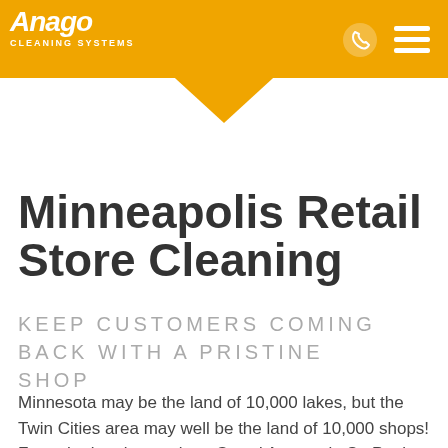[Figure (logo): Anago Cleaning Systems logo on orange header bar with phone icon and hamburger menu icon]
Minneapolis Retail Store Cleaning
KEEP CUSTOMERS COMING BACK WITH A PRISTINE SHOP
Minnesota may be the land of 10,000 lakes, but the Twin Cities area may well be the land of 10,000 shops! From the boutiques along Grand Avenue in St. Paul to the tony 50th and France retail district in